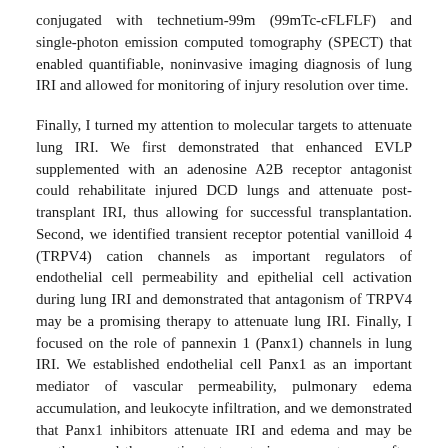conjugated with technetium-99m (99mTc-cFLFLF) and single-photon emission computed tomography (SPECT) that enabled quantifiable, noninvasive imaging diagnosis of lung IRI and allowed for monitoring of injury resolution over time.
Finally, I turned my attention to molecular targets to attenuate lung IRI. We first demonstrated that enhanced EVLP supplemented with an adenosine A2B receptor antagonist could rehabilitate injured DCD lungs and attenuate post-transplant IRI, thus allowing for successful transplantation. Second, we identified transient receptor potential vanilloid 4 (TRPV4) cation channels as important regulators of endothelial cell permeability and epithelial cell activation during lung IRI and demonstrated that antagonism of TRPV4 may be a promising therapy to attenuate lung IRI. Finally, I focused on the role of pannexin 1 (Panx1) channels in lung IRI. We established endothelial cell Panx1 as an important mediator of vascular permeability, pulmonary edema accumulation, and leukocyte infiltration, and we demonstrated that Panx1 inhibitors attenuate IRI and edema and may be another novel therapeutic strategy to improve outcomes after lung